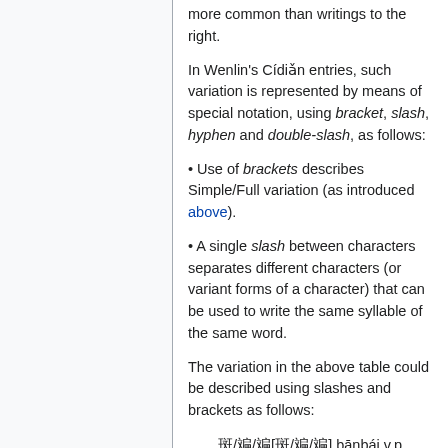more common than writings to the right.
In Wenlin's Cídiǎn entries, such variation is represented by means of special notation, using bracket, slash, hyphen and double-slash, as follows:
• Use of brackets describes Simple/Full variation (as introduced above).
• A single slash between characters separates different characters (or variant forms of a character) that can be used to write the same syllable of the same word.
The variation in the above table could be described using slashes and brackets as follows:
斑/斒/斒[斑/斒/斒] bānbái v.p. grizzled; graying; gray; white [Simple Form Characters ON]